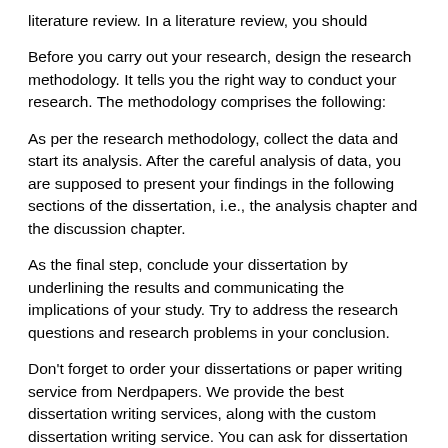literature review. In a literature review, you should
Before you carry out your research, design the research methodology. It tells you the right way to conduct your research. The methodology comprises the following:
As per the research methodology, collect the data and start its analysis. After the careful analysis of data, you are supposed to present your findings in the following sections of the dissertation, i.e., the analysis chapter and the discussion chapter.
As the final step, conclude your dissertation by underlining the results and communicating the implications of your study. Try to address the research questions and research problems in your conclusion.
Don't forget to order your dissertations or paper writing service from Nerdpapers. We provide the best dissertation writing services, along with the custom dissertation writing service. You can ask for dissertation writing help and we promise to offer complete guidance.